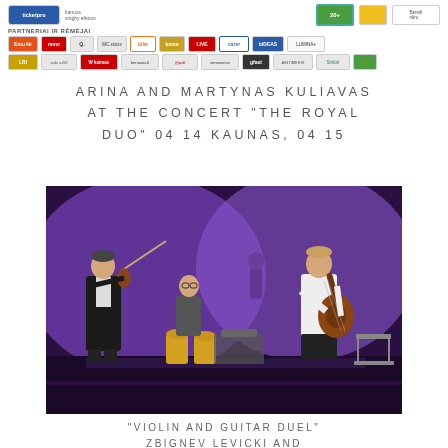[Figure (logo): Row of sponsor and partner logos including ticketpro, various Lithuanian sponsors, Emu Hr, Q, bilai, kuma, LIVE, oazer, IDEAS, and others in two rows]
PARTNERIAI IR RĖMĖJAI
ARINA AND MARTYNAS KULIAVAS AT THE CONCERT "THE ROYAL DUO" 04 14 KAUNAS, 04 15
[Figure (photo): Concert performance photo showing three musicians on stage with purple lighting: a violinist on the left in a suit, a percussionist/drummer in the center, and a guitarist on the right in a white shirt. Conga drums are visible in the foreground.]
"VIOLIN AND GUITAR DUEL" ZBIGNEV LEVICKI AND